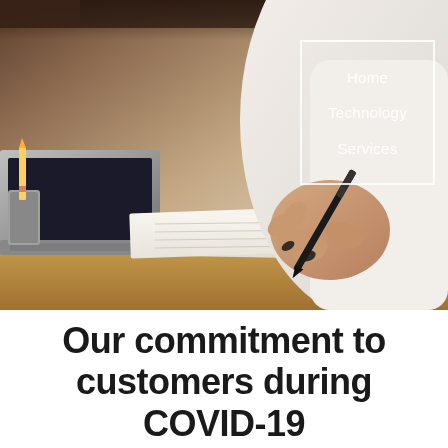[Figure (photo): A person in a white shirt writing on paper with a pen at a wooden desk, with a laptop visible on the left side. The photo is taken from a close-up angle showing the hand holding a pen.]
Home
Technology
Services
Our commitment to customers during COVID-19